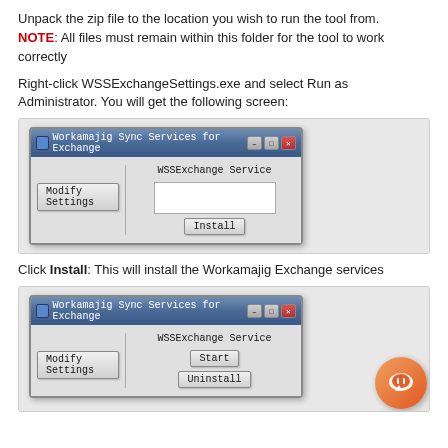Unpack the zip file to the location you wish to run the tool from. NOTE: All files must remain within this folder for the tool to work correctly
Right-click WSSExchangeSettings.exe and select Run as Administrator. You will get the following screen:
[Figure (screenshot): Windows dialog box titled 'Workamajig Sync Services for Exchange' showing 'WSSExchange Service' label, a 'Modify Settings' button on the left panel, and an 'Install' button on the right panel.]
Click Install: This will install the Workamajig Exchange services
[Figure (screenshot): Windows dialog box titled 'Workamajig Sync Services for Exchange' showing 'WSSExchange Service' label, a 'Modify Settings' button on the left panel, and 'Start' and 'Uninstall' buttons on the right panel.]